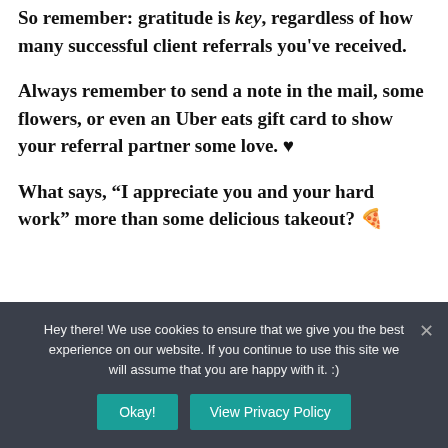So remember: gratitude is key, regardless of how many successful client referrals you've received.
Always remember to send a note in the mail, some flowers, or even an Uber eats gift card to show your referral partner some love. ♥
What says, "I appreciate you and your hard work" more than some delicious takeout? 🍕
Hey there! We use cookies to ensure that we give you the best experience on our website. If you continue to use this site we will assume that you are happy with it. :)